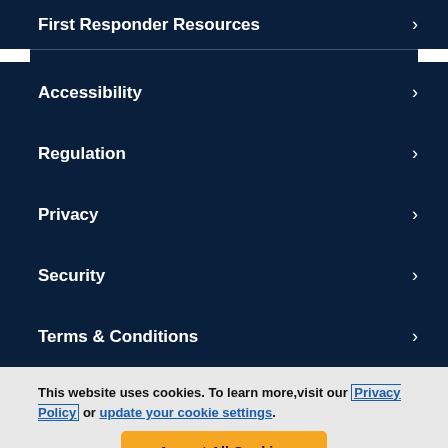First Responder Resources >
Accessibility >
Regulation >
Privacy >
Security >
Terms & Conditions >
This website uses cookies. To learn more, visit our Privacy Policy or update your cookie settings.
Accept All Cookies